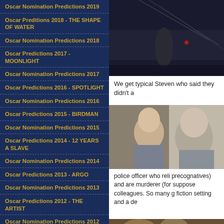Oscar Nomination Predictions 2019
Oscar Preditions 2018 - THE SHAPE OF WATER
Oscar Nomination Predictions 2018
Oscar Predictions 2017 - MOONLIGHT
Oscar Nomination Predictions 2017
Oscar Predictions 2016 - SPOTLIGHT
Oscar Nomination Predictions 2016
Oscar Predictions 2015 - BIRDMAN
Oscar Nomination Predictions 2015
Oscar Predictions 2014 - 12 YEARS A SLAVE
Oscar Nomination Predictions 2014
Oscar Predictions 2013 - ARGO
Oscar Nomination Predictions 2013
Oscar Predictions 2012 - THE ARTIST
Oscar Nomination Predictions 2012
Oscar Predictions 2011 - THE KING'S SPEECH
Oscar Nomination Predictions 2011
[Figure (photo): Dark scene with a figure and wire/fence, possibly a sci-fi or thriller film still]
We get typical Steven who said they didn't a
[Figure (photo): Two men in close-up, one facing sideways, possibly from a drama or thriller film]
police officer who reli precognatives) and are murderer (for suppose colleagues. So many g fiction setting and a de
[Figure (photo): Scene with a person, possibly from a period or adventure film]